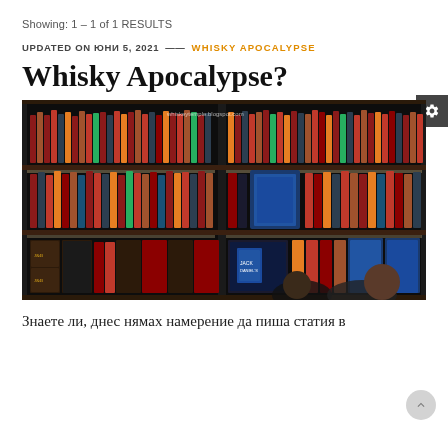Showing: 1 – 1 of 1 RESULTS
UPDATED ON ЮНИ 5, 2021 — WHISKY APOCALYPSE
Whisky Apocalypse?
[Figure (photo): A dark display cabinet/shelf filled with rows of whisky bottles on multiple shelves, with two people visible at the bottom. Watermark reads 'whiskeytemple.blogspot.com']
Знаете ли, днес нямах намерение да пиша статия в